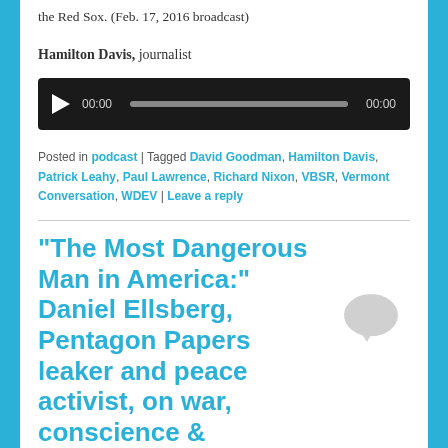the Red Sox. (Feb. 17, 2016 broadcast)
Hamilton Davis, journalist
[Figure (other): Audio player widget with play button, time display 00:00, progress bar, and end time 00:00 on dark background]
Posted in podcast | Tagged David Goodman, Hamilton Davis, Patrick Leahy, Paul Lawrence, Richard Nixon, VBSR, Vermont Conversation, WDEV | Leave a reply
“The Most Dangerous Man in America:” Daniel Ellsberg, Pentagon Papers leaker and peace activist, on war, conscience &